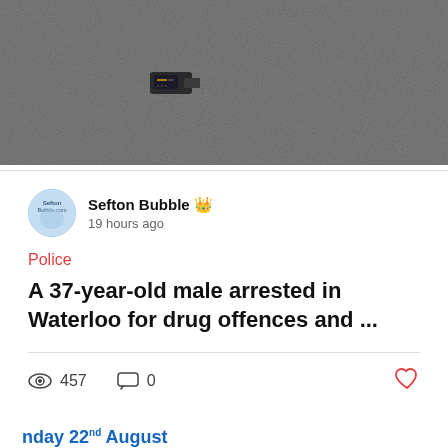[Figure (photo): Photo of a small electronic device (appears to be a USB dongle or SIM card reader) on grey carpet/surface]
Sefton Bubble 👑
19 hours ago
Police
A 37-year-old male arrested in Waterloo for drug offences and ...
457 views  0 comments  ♥
[Figure (screenshot): Partial screenshot of a Free School Uniform advertisement with rainbow graphic, showing 'FREE SCHOOL UNIFORM', date 'Sunday 22nd August', and text 'Schools we have uniform for in... St Monica's, St Robert Bellarmine...']